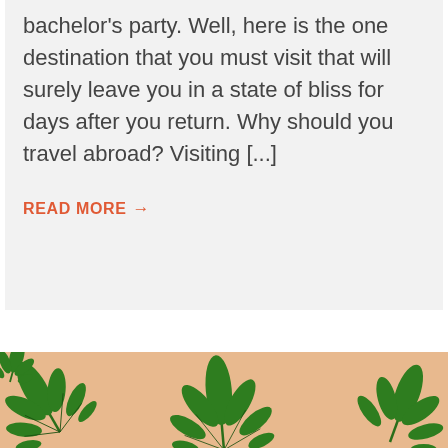bachelor's party. Well, here is the one destination that you must visit that will surely leave you in a state of bliss for days after you return. Why should you travel abroad? Visiting [...]
READ MORE →
[Figure (photo): Cannabis/marijuana leaves arranged on a peach/salmon colored background, viewed from above]